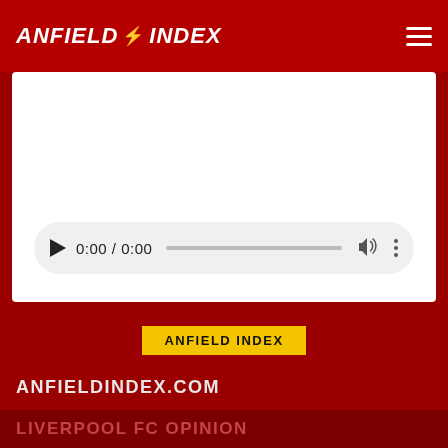ANFIELD INDEX
[Figure (screenshot): Video/audio media player with white background, showing a pill-shaped player control bar with play button, time 0:00 / 0:00, progress bar, volume icon, and menu dots]
ANFIELD INDEX
ANFIELDINDEX.COM
LIVERPOOL FC ARTICLES
LIVERPOOL FC PODCASTS
LIVERPOOL FC OPINION